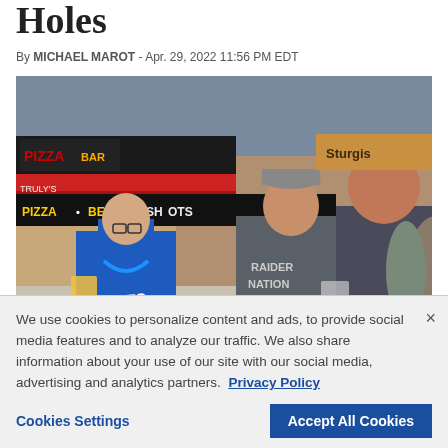Holes
By MICHAEL MAROT - Apr. 29, 2022 11:56 PM EDT
[Figure (photo): Three men standing outdoors near a Pizza Bar with signs reading 'PIZZA • BEER • SHOTS'. The man on the left wears a blue Colts jersey and cap, holding a beer. The man in the middle wears a gray Raiders Nation shirt and a cap. The man on the right wears a dark gray t-shirt and holds a cup.]
We use cookies to personalize content and ads, to provide social media features and to analyze our traffic. We also share information about your use of our site with our social media, advertising and analytics partners.  Privacy Policy
Cookies Settings
Accept All Cookies